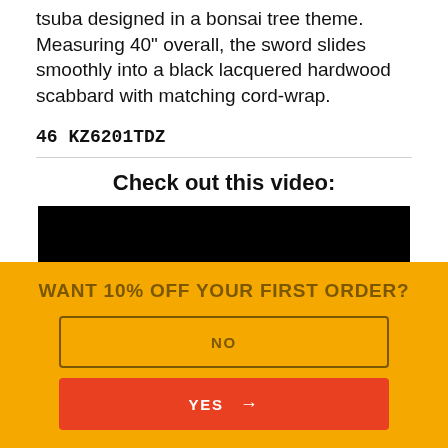tsuba designed in a bonsai tree theme. Measuring 40" overall, the sword slides smoothly into a black lacquered hardwood scabbard with matching cord-wrap.
46 KZ6201TDZ
Check out this video:
[Figure (other): Black video player placeholder rectangle]
WANT 10% OFF YOUR FIRST ORDER?
NO
YES →